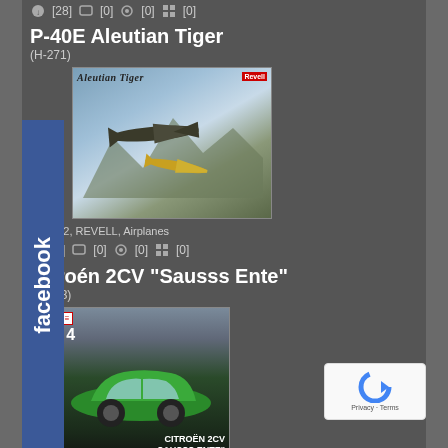[28] [0] [0] [0]
P-40E Aleutian Tiger
(H-271)
[Figure (photo): P-40E Aleutian Tiger model kit box art showing two warplanes in flight over mountains]
1:32, REVELL, Airplanes
[9] [0] [0] [0]
Citroën 2CV "Sausss Ente"
(07053)
[Figure (photo): Citroën 2CV Sausss Ente model kit box showing green Citroën 2CV car]
1:24, REVELL, Cars
[3] [0] [0] [0]
'76 Ford Torino
(07038)